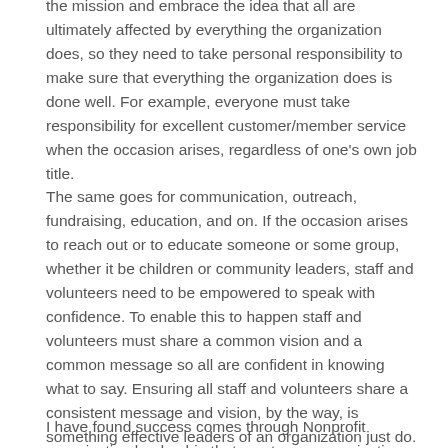the mission and embrace the idea that all are ultimately affected by everything the organization does, so they need to take personal responsibility to make sure that everything the organization does is done well. For example, everyone must take responsibility for excellent customer/member service when the occasion arises, regardless of one's own job title.
The same goes for communication, outreach, fundraising, education, and on. If the occasion arises to reach out or to educate someone or some group, whether it be children or community leaders, staff and volunteers need to be empowered to speak with confidence. To enable this to happen staff and volunteers must share a common vision and a common message so all are confident in knowing what to say. Ensuring all staff and volunteers share a consistent message and vision, by the way, is something effective leaders of an organization just do.
I have found success comes through Nonprofit organization leadership that creates an organization filled with competent